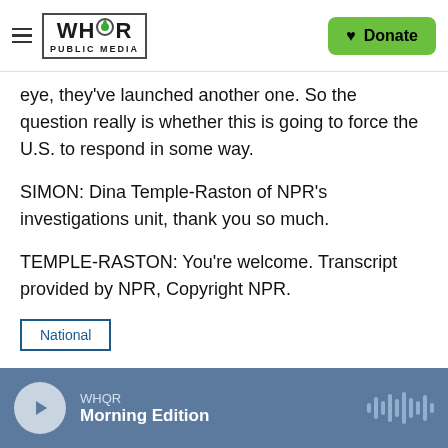WHQR PUBLIC MEDIA | Donate
eye, they've launched another one. So the question really is whether this is going to force the U.S. to respond in some way.
SIMON: Dina Temple-Raston of NPR's investigations unit, thank you so much.
TEMPLE-RASTON: You're welcome. Transcript provided by NPR, Copyright NPR.
National
[Figure (other): Social sharing buttons: Facebook, Twitter, LinkedIn, Email]
WHQR Morning Edition